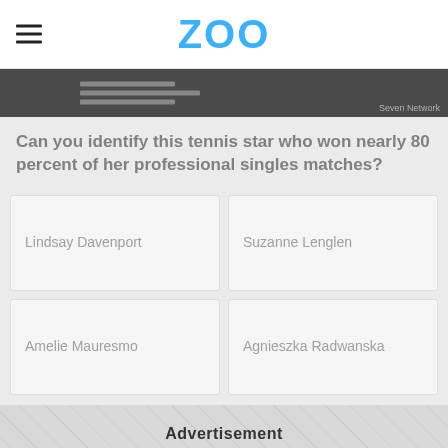ZOO
[Figure (photo): Dark banner image with horizontal lines and 'Seven Network' credit in bottom right corner]
Can you identify this tennis star who won nearly 80 percent of her professional singles matches?
Lindsay Davenport
Suzanne Lenglen
Amelie Mauresmo
Agnieszka Radwanska
Advertisement